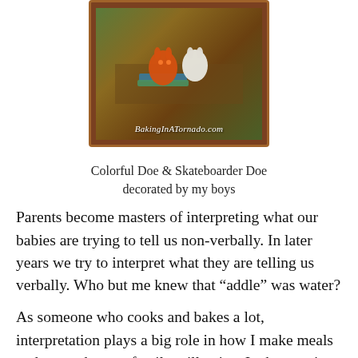[Figure (photo): Photo of decorated doe/deer-shaped cookies on a surface, with watermark text 'BakingInATornado.com' overlaid in white italic text at the bottom of the image. The image has a brown wooden frame border.]
Colorful Doe & Skateboarder Doe
decorated by my boys
Parents become masters of interpreting what our babies are trying to tell us non-verbally. In later years we try to interpret what they are telling us verbally. Who but me knew that “addle” was water?
As someone who cooks and bakes a lot, interpretation plays a big role in how I make meals and treats that my family will enjoy. I take a recipe and add, subtract and switch out ingredients according to what my family likes. My Turkey Dinner Casserole is actually an interpretation